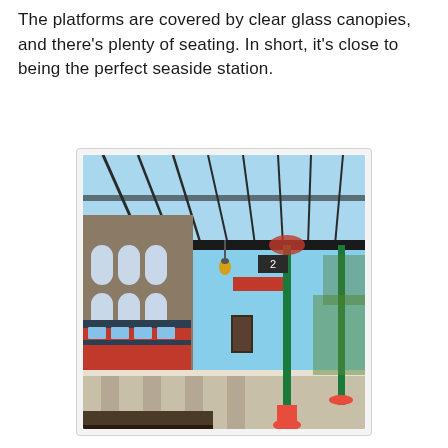The platforms are covered by clear glass canopies, and there's plenty of seating.  In short, it's close to being the perfect seaside station.
[Figure (photo): Interior view of a seaside train station platform covered by a clear glass canopy supported by ornate green metal columns. A stone building with arched windows is visible on the left. A train carriage is alongside the platform. Sunlight creates geometric shadow patterns on the platform floor. A platform number 2 sign is visible.]